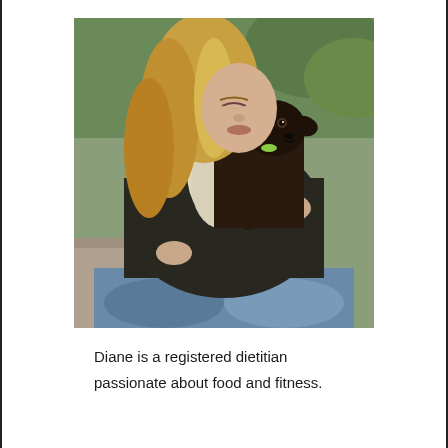[Figure (photo): A woman with blonde hair holding and looking at a small dark brown puppy. She is wearing a dark sweater and jeans, with a light scarf. The background shows greenery. She is sitting and cradling the puppy in both hands.]
Diane is a registered dietitian passionate about food and fitness.